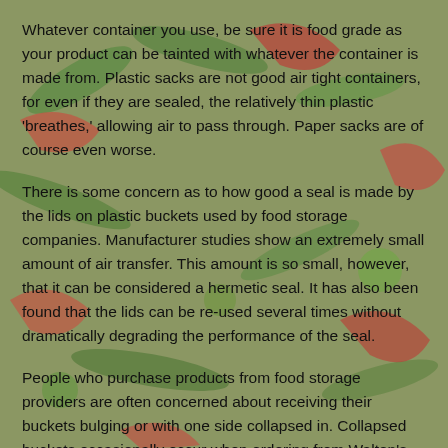Whatever container you use, be sure it is food grade as your product can be tainted with whatever the container is made from. Plastic sacks are not good air tight containers, for even if they are sealed, the relatively thin plastic 'breathes,' allowing air to pass through. Paper sacks are of course even worse.
There is some concern as to how good a seal is made by the lids on plastic buckets used by food storage companies. Manufacturer studies show an extremely small amount of air transfer. This amount is so small, however, that it can be considered a hermetic seal. It has also been found that the lids can be re-used several times without dramatically degrading the performance of the seal.
People who purchase products from food storage providers are often concerned about receiving their buckets bulging or with one side collapsed in. Collapsed buckets occasionally occur when ordering from Walton's as the elevation of their packing facility is above 6,000 feet. As the buckets are shipped to a lower elevation, the increased ambient air pressure can sometimes push in one side. If a side is popped in, it is a great indication that the bucket is indeed sealed. And this also holds true for buckets that might be under a slight amount of pressure. If either